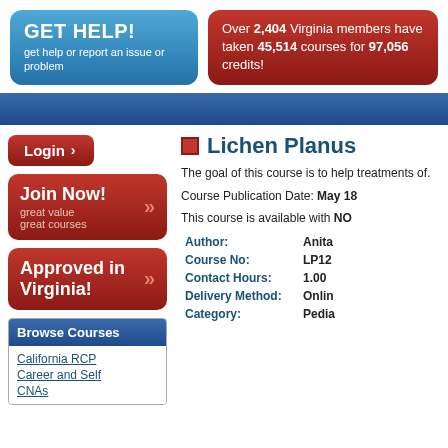[Figure (screenshot): Blue rounded button with text GET HELP! get help or report an issue or problem]
Over 2,404 Virginia members have taken 45,514 courses for 97,056 credits!
[Figure (screenshot): Blue navigation bar]
[Figure (screenshot): Red Login button with right arrow]
[Figure (screenshot): Red Join Now! button with double right arrows, subtitle: great value great courses]
[Figure (screenshot): Red Approved in Virginia! button with double right arrows]
Browse Courses
California RCP
Career and Self
CNAs
Lichen Planus
The goal of this course is to help treatments of.
Course Publication Date: May 18
This course is available with NO
| Field | Value |
| --- | --- |
| Author: | Anita |
| Course No: | LP12 |
| Contact Hours: | 1.00 |
| Delivery Method: | Onlin |
| Category: | Pedia |